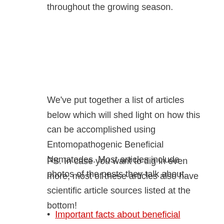throughout the growing season.
We've put together a list of articles below which will shed light on how this can be accomplished using Entomopathogenic Beneficial Nematodes. Most articles include photos of the pests they talk about.
PS. In case you want to dig in even more, most of these articles also have scientific article sources listed at the bottom!
Important facts about beneficial nematodes